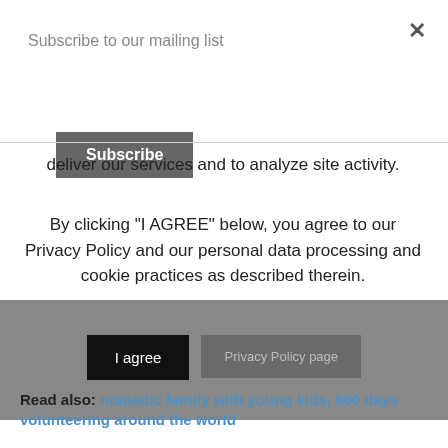Subscribe to our mailing list
Subscribe
deliver our services and to analyze site activity.
By clicking "I AGREE" below, you agree to our Privacy Policy and our personal data processing and cookie practices as described therein.
I agree
Privacy Policy page
[Figure (photo): Strip of six travel/volunteer photos showing people in various outdoor and event settings]
Read also: nomadic family with young kids, 800 days volunteering around the world